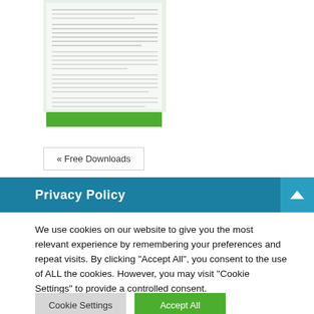[Figure (photo): Thumbnail of a religious book page with green accent bar at bottom, showing text about faith from Romans and Hebrews]
« Free Downloads
Privacy Policy
We use cookies on our website to give you the most relevant experience by remembering your preferences and repeat visits. By clicking "Accept All", you consent to the use of ALL the cookies. However, you may visit "Cookie Settings" to provide a controlled consent.
Cookie Settings
Accept All